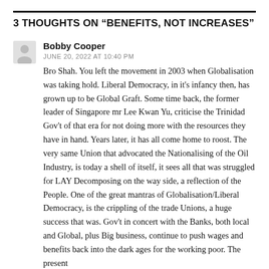3 THOUGHTS ON "BENEFITS, NOT INCREASES"
Bobby Cooper
JUNE 20, 2022 AT 10:40 PM
Bro Shah. You left the movement in 2003 when Globalisation was taking hold. Liberal Democracy, in it's infancy then, has grown up to be Global Graft. Some time back, the former leader of Singapore mr Lee Kwan Yu, criticise the Trinidad Gov't of that era for not doing more with the resources they have in hand. Years later, it has all come home to roost. The very same Union that advocated the Nationalising of the Oil Industry, is today a shell of itself, it sees all that was struggled for LAY Decomposing on the way side, a reflection of the People. One of the great mantras of Globalisation/Liberal Democracy, is the crippling of the trade Unions, a huge success that was. Gov't in concert with the Banks, both local and Global, plus Big business, continue to push wages and benefits back into the dark ages for the working poor. The present